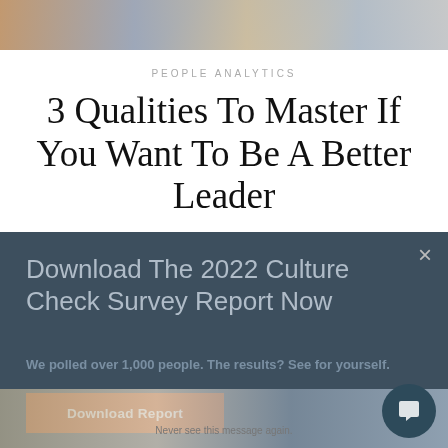[Figure (photo): Top photo strip showing people in a professional/office setting]
PEOPLE ANALYTICS
3 Qualities To Master If You Want To Be A Better Leader
Download The 2022 Culture Check Survey Report Now
We polled over 1,000 people. The results? See for yourself.
Download Report
[Figure (photo): Bottom strip showing office/people photos]
Never see this message again.